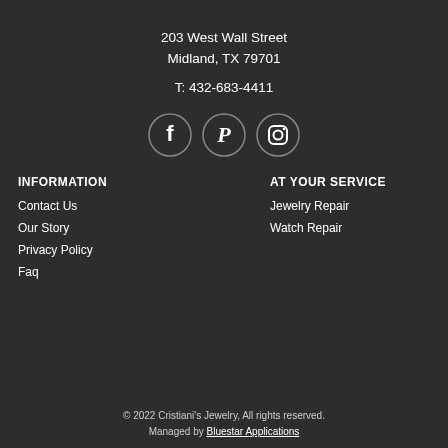203 West Wall Street
Midland, TX 79701
T: 432-683-4411
[Figure (illustration): Three circular social media icons: Facebook, Pinterest, Instagram]
INFORMATION
AT YOUR SERVICE
Contact Us
Jewelry Repair
Our Story
Watch Repair
Privacy Policy
Faq
© 2022 Cristiani's Jewelry, All rights reserved.
Managed by Bluestar Applications